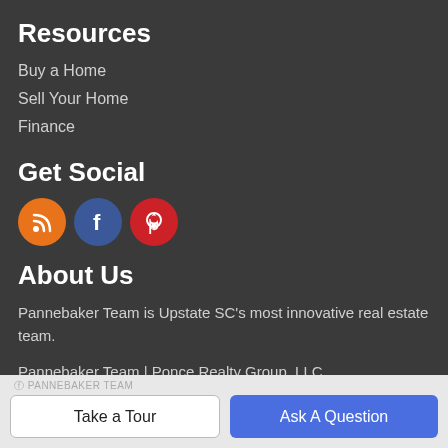Resources
Buy a Home
Sell Your Home
Finance
Get Social
[Figure (illustration): Three social media icon circles: RSS (orange), Facebook (blue), Pinterest (red)]
About Us
Pannebaker Team is Upstate SC's most innovative real estate team.
Pannebaker Team | Ponce Realty Group, LLC
1865 E Main St, Duncan, SC 29334